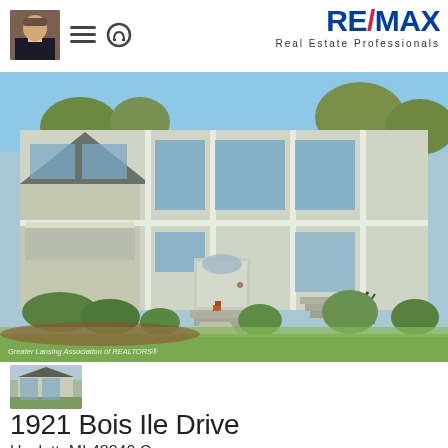[Figure (logo): RE/MAX Real Estate Professionals logo with red and blue text]
[Figure (photo): Exterior front photo of a two-story townhouse/condo with light gray siding, multiple windows, front door with fanlight, landscaped shrubs and lawn, concrete walkway]
[Figure (photo): Small thumbnail image of the same or similar property exterior]
1921 Bois Ile Drive
Haslett, MI 48840 C...